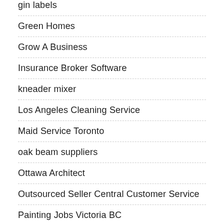gin labels
Green Homes
Grow A Business
Insurance Broker Software
kneader mixer
Los Angeles Cleaning Service
Maid Service Toronto
oak beam suppliers
Ottawa Architect
Outsourced Seller Central Customer Service
Painting Jobs Victoria BC
Plumbed Thompson